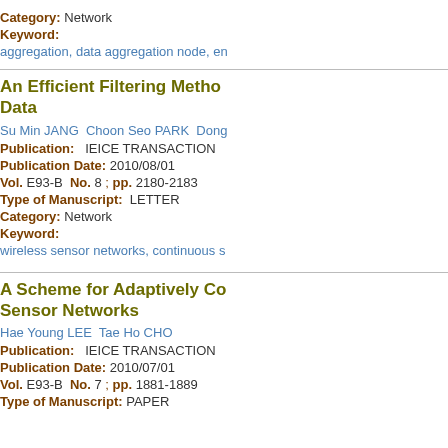Category: Network
Keyword:
aggregation, data aggregation node, en...
An Efficient Filtering Metho... Data
Su Min JANG  Choon Seo PARK  Dong...
Publication:  IEICE TRANSACTION
Publication Date: 2010/08/01
Vol. E93-B  No. 8 ; pp. 2180-2183
Type of Manuscript:  LETTER
Category: Network
Keyword:
wireless sensor networks, continuous s...
A Scheme for Adaptively Co... Sensor Networks
Hae Young LEE  Tae Ho CHO
Publication:  IEICE TRANSACTION
Publication Date: 2010/07/01
Vol. E93-B  No. 7 ; pp. 1881-1889
Type of Manuscript: PAPER